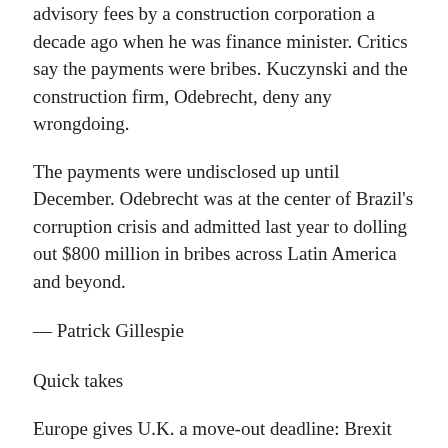advisory fees by a construction corporation a decade ago when he was finance minister. Critics say the payments were bribes. Kuczynski and the construction firm, Odebrecht, deny any wrongdoing.
The payments were undisclosed up until December. Odebrecht was at the center of Brazil’s corruption crisis and admitted last year to dolling out $800 million in bribes across Latin America and beyond.
— Patrick Gillespie
Quick takes
Europe gives U.K. a move-out deadline: Brexit transition must end by late 2020
About that balanced budget....Saudis ramp up spending amid austerity jitters